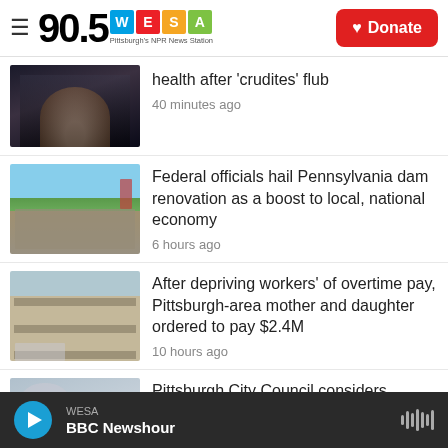90.5 WESA Pittsburgh's NPR News Station
[Figure (photo): Photo of a man speaking, dark background]
health after 'crudites' flub
40 minutes ago
[Figure (photo): Photo of officials at a podium outdoors with bridge in background]
Federal officials hail Pennsylvania dam renovation as a boost to local, national economy
6 hours ago
[Figure (photo): Photo of a government building]
After depriving workers' of overtime pay, Pittsburgh-area mother and daughter ordered to pay $2.4M
10 hours ago
[Figure (photo): Photo of street art or mural]
Pittsburgh City Council considers
WESA BBC Newshour